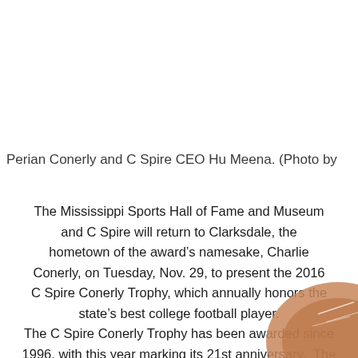Perian Conerly and C Spire CEO Hu Meena. (Photo by
The Mississippi Sports Hall of Fame and Museum and C Spire will return to Clarksdale, the hometown of the award’s namesake, Charlie Conerly, on Tuesday, Nov. 29, to present the 2016 C Spire Conerly Trophy, which annually honors the state’s best college football player. The C Spire Conerly Trophy has been awarded since 1996, with this year marking its 21st anniversary. The award is named in honor of the late Charlie Conerly,